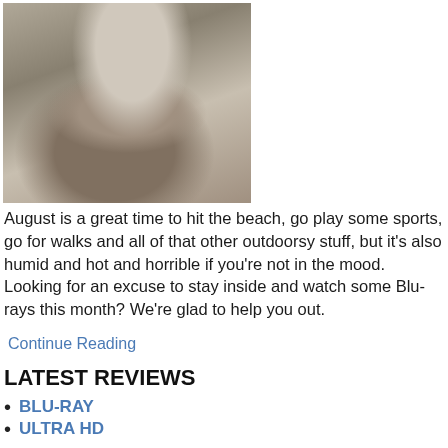[Figure (photo): Black and white or desaturated photo of a middle-aged man in a light-colored jacket holding a device, looking upward]
August is a great time to hit the beach, go play some sports, go for walks and all of that other outdoorsy stuff, but it's also humid and hot and horrible if you're not in the mood.  Looking for an excuse to stay inside and watch some Blu-rays this month? We're glad to help you out.
Continue Reading
LATEST REVIEWS
BLU-RAY
ULTRA HD